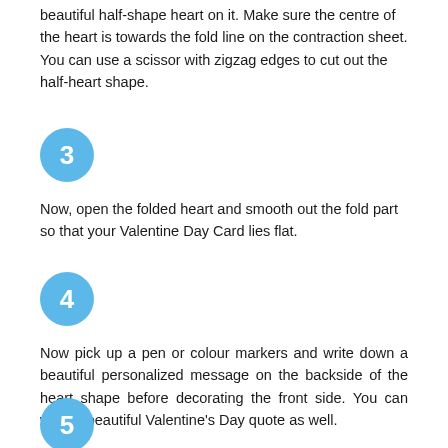beautiful half-shape heart on it. Make sure the centre of the heart is towards the fold line on the contraction sheet. You can use a scissor with zigzag edges to cut out the half-heart shape.
[Figure (illustration): Blue circle with white number 3]
Now, open the folded heart and smooth out the fold part so that your Valentine Day Card lies flat.
[Figure (illustration): Blue circle with white number 4]
Now pick up a pen or colour markers and write down a beautiful personalized message on the backside of the heart shape before decorating the front side. You can write a beautiful Valentine's Day quote as well.
[Figure (illustration): Blue circle with white number 5]